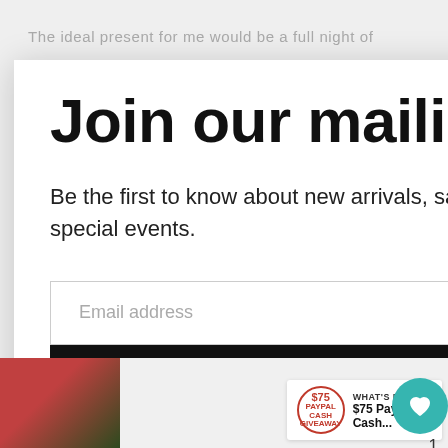The ideal present for me would be a full night of
Join our mailing list.
Be the first to know about new arrivals, sales, and special events.
Email address
Subscribe
[Figure (screenshot): Small thumbnail photo of a person in red and black striped clothing outdoors]
WHAT'S NEXT → $75 PayPal Cash...